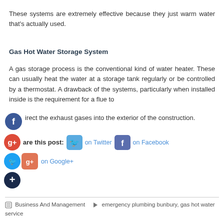These systems are extremely effective because they just warm water that's actually used.
Gas Hot Water Storage System
A gas storage process is the conventional kind of water heater. These can usually heat the water at a storage tank regularly or be controlled by a thermostat. A drawback of the systems, particularly when installed inside is the requirement for a flue to direct the exhaust gases into the exterior of the construction.
[Figure (infographic): Social sharing buttons: Facebook circle icon, Google+ circle icon, Twitter circle icon, share row with Twitter and Facebook buttons, Google+ button, and a dark add/plus circle icon.]
are this post:  on Twitter  on Facebook  on Google+
Business And Management   emergency plumbing bunbury, gas hot water service